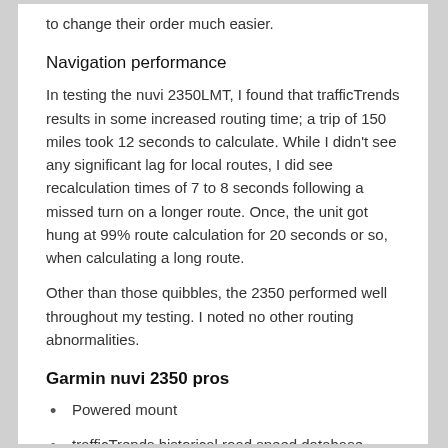to change their order much easier.
Navigation performance
In testing the nuvi 2350LMT, I found that trafficTrends results in some increased routing time; a trip of 150 miles took 12 seconds to calculate. While I didn't see any significant lag for local routes, I did see recalculation times of 7 to 8 seconds following a missed turn on a longer route. Once, the unit got hung at 99% route calculation for 20 seconds or so, when calculating a long route.
Other than those quibbles, the 2350 performed well throughout my testing. I noted no other routing abnormalities.
Garmin nuvi 2350 pros
Powered mount
trafficTrends historical road speed database generally results in improved routing
myTrends learns preferred routes for routine trips
Customization options
Lane Assist